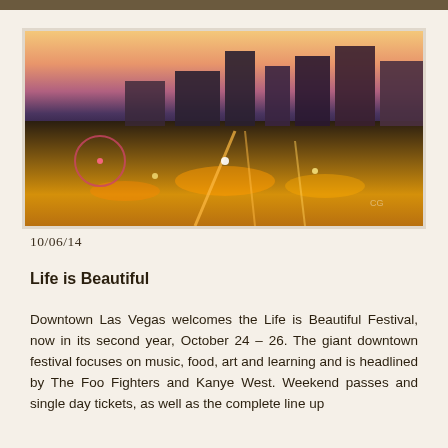[Figure (photo): Aerial night view of downtown Las Vegas cityscape with illuminated streets, buildings, and the city skyline at dusk with a colorful sky]
10/06/14
Life is Beautiful
Downtown Las Vegas welcomes the Life is Beautiful Festival, now in its second year, October 24 – 26. The giant downtown festival focuses on music, food, art and learning and is headlined by The Foo Fighters and Kanye West. Weekend passes and single day tickets, as well as the complete line up